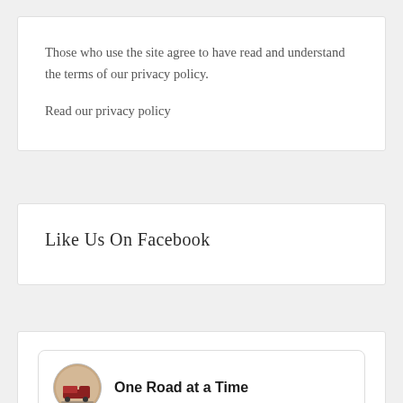Those who use the site agree to have read and understand the terms of our privacy policy.
Read our privacy policy
Like Us On Facebook
[Figure (logo): One Road at a Time Facebook page widget with circular logo and bold page name text]